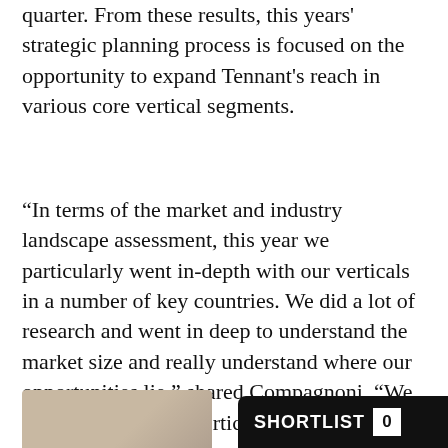quarter. From these results, this years' strategic planning process is focused on the opportunity to expand Tennant's reach in various core vertical segments.
“In terms of the market and industry landscape assessment, this year we particularly went in-depth with our verticals in a number of key countries. We did a lot of research and went in deep to understand the market size and really understand where our opportunities lie,” shared Compagnoni. “We found that in some vertical segments where we are particularly strong – retail, manufacturing, logistics, warehousing – while we already have good market share, there’s still pockets of opportunity to grow.”
Moving forward,
[Figure (photo): Partial photo of a person visible at the bottom right of the page, with a SHORTLIST badge overlay]